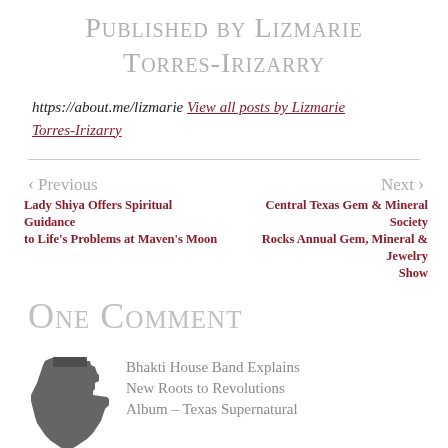Published by Lizmarie Torres-Irizarry
https://about.me/lizmarie View all posts by Lizmarie Torres-Irizarry
Previous Lady Shiya Offers Spiritual Guidance to Life's Problems at Maven's Moon
Next Central Texas Gem & Mineral Society Rocks Annual Gem, Mineral & Jewelry Show
One Comment
[Figure (illustration): Texas state silhouette icon in dark gray]
Bhakti House Band Explains New Roots to Revolutions Album – Texas Supernatural